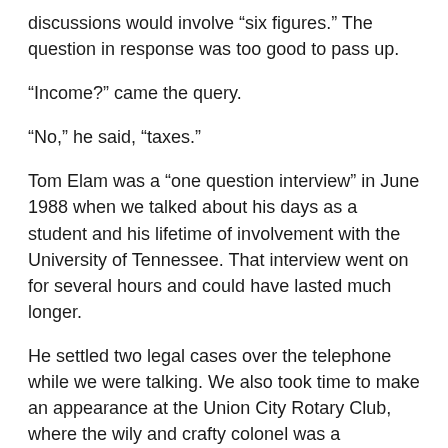discussions would involve “six figures.” The question in response was too good to pass up.
“Income?” came the query.
“No,” he said, “taxes.”
Tom Elam was a “one question interview” in June 1988 when we talked about his days as a student and his lifetime of involvement with the University of Tennessee. That interview went on for several hours and could have lasted much longer.
He settled two legal cases over the telephone while we were talking. We also took time to make an appearance at the Union City Rotary Club, where the wily and crafty colonel was a respected member.
Walking down the streets of Union City with the